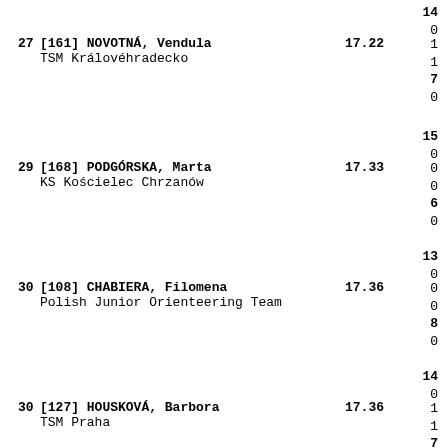27 [161] NOVOTNÁ, Vendula  TSM Královéhradecko  17.22
29 [168] PODGÓRSKA, Marta  KS Kościelec Chrzanów  17.33
30 [108] CHABIERA, Filomena  Polish Junior Orienteering Team  17.36
30 [127] HOUSKOVÁ, Barbora  TSM Praha  17.36